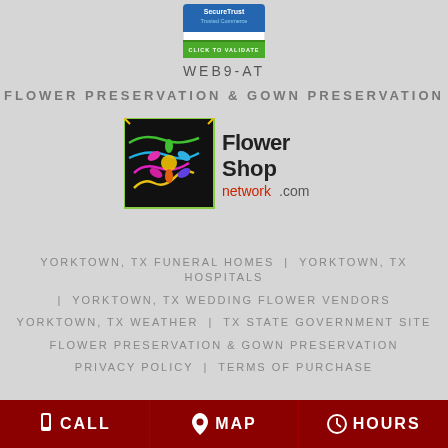[Figure (logo): SecureTrust Trusted Commerce badge with 'CLICK TO VALIDATE' text]
WEB9-AT
FLOWER PRESERVATION & GOWN PRESERVATION
[Figure (logo): Flower Shop Network .com logo with colorful flower illustration on dark background]
YORKTOWN, TX FUNERAL HOMES | YORKTOWN, TX HOSPITALS
| YORKTOWN, TX WEDDING FLOWER VENDORS
YORKTOWN, TX WEATHER | TX STATE GOVERNMENT SITE
FLOWER PRESERVATION & GOWN PRESERVATION
PRIVACY POLICY | TERMS OF PURCHASE
CALL  MAP  HOURS